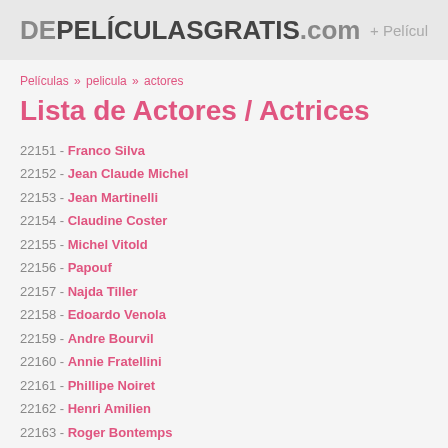DEPELÍCULASGRATIS.com + Pelicu...
Películas » pelicula » actores
Lista de Actores / Actrices
22151 - Franco Silva
22152 - Jean Claude Michel
22153 - Jean Martinelli
22154 - Claudine Coster
22155 - Michel Vitold
22156 - Papouf
22157 - Najda Tiller
22158 - Edoardo Venola
22159 - Andre Bourvil
22160 - Annie Fratellini
22161 - Phillipe Noiret
22162 - Henri Amilien
22163 - Roger Bontemps